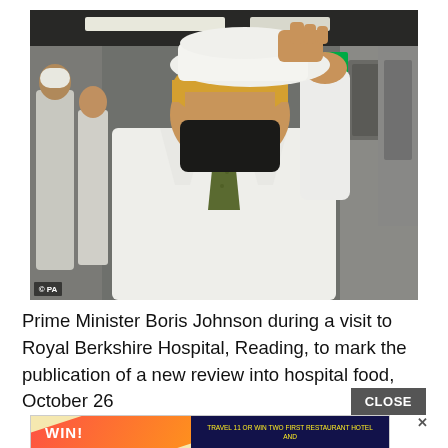[Figure (photo): Prime Minister Boris Johnson wearing a white lab coat, black face mask, and putting on a white hat in a hospital kitchen environment. Other staff in white coats visible in background. PA watermark in bottom-left corner.]
Prime Minister Boris Johnson during a visit to Royal Berkshire Hospital, Reading, to mark the publication of a new review into hospital food, October 26
[Figure (other): Advertisement banner at bottom of page showing 'WIN!' text with colorful diagonal design on left, and dark blue panel with yellow text on right. Close X button visible.]